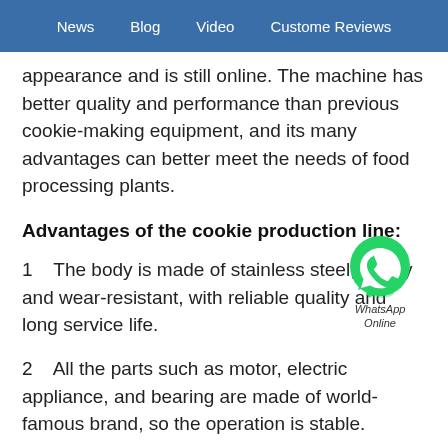News   Blog   Video   Custome Reviews
appearance and is still online. The machine has better quality and performance than previous cookie-making equipment, and its many advantages can better meet the needs of food processing plants.
Advantages of the cookie production line:
[Figure (logo): WhatsApp Online green phone icon badge with text 'WhatsApp Online']
1    The body is made of stainless steel, sturdy and wear-resistant, with reliable quality and long service life.
2    All the parts such as motor, electric appliance, and bearing are made of world-famous brand, so the operation is stable.
3    High degree of automation, a single machine can be